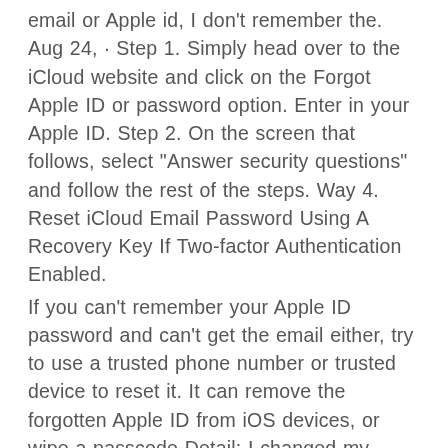email or Apple id, I don't remember the. Aug 24, · Step 1. Simply head over to the iCloud website and click on the Forgot Apple ID or password option. Enter in your Apple ID. Step 2. On the screen that follows, select "Answer security questions" and follow the rest of the steps. Way 4. Reset iCloud Email Password Using A Recovery Key If Two-factor Authentication Enabled.
If you can't remember your Apple ID password and can't get the email either, try to use a trusted phone number or trusted device to reset it. It can remove the forgotten Apple ID from iOS devices, or wipe a passcode Detail: I changed my Apple ID to a different email and changed the password. Go to www.nikifar.ru, click Manage my Apple ID and sign in with your current iCloud ID. Tap edit next to the primary email account, tap Edit, change.
Mar 07, · Part 7: Using Apple's Two-Factor Authentication (Forgot Apple ID Password) This is a new account recovery